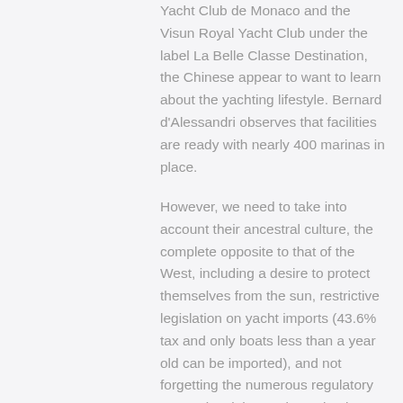Yacht Club de Monaco and the Visun Royal Yacht Club under the label La Belle Classe Destination, the Chinese appear to want to learn about the yachting lifestyle. Bernard d'Alessandri observes that facilities are ready with nearly 400 marinas in place.
However, we need to take into account their ancestral culture, the complete opposite to that of the West, including a desire to protect themselves from the sun, restrictive legislation on yacht imports (43.6% tax and only boats less than a year old can be imported), and not forgetting the numerous regulatory constraints inherent in navigation.
“We are owned, as to a 75% share, by Weichai Group. Working therefore closely with them, I can tell you they are working to learn and teach in China the ‘Life Style’ and if we in the West will be able to support them and be willing to revise our products and we are willing to listen and understand their way of life, I think, that since the speed of growth of